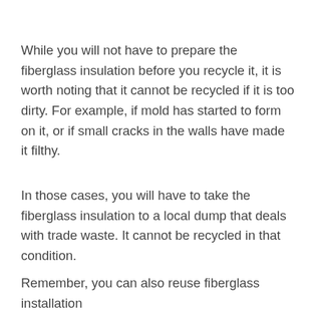While you will not have to prepare the fiberglass insulation before you recycle it, it is worth noting that it cannot be recycled if it is too dirty. For example, if mold has started to form on it, or if small cracks in the walls have made it filthy.
In those cases, you will have to take the fiberglass insulation to a local dump that deals with trade waste. It cannot be recycled in that condition.
Remember, you can also reuse fiberglass installation
[Figure (other): Overlay popup ad titled 'Can Concrete Be Recycled?' with close button and body text 'media.' overlaid on a background image showing a gray texture with an X mark.]